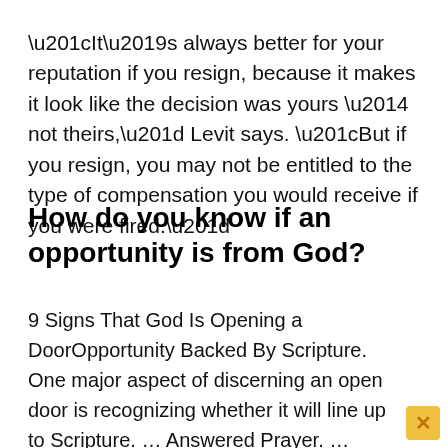“It’s always better for your reputation if you resign, because it makes it look like the decision was yours — not theirs,” Levit says. “But if you resign, you may not be entitled to the type of compensation you would receive if you were fired.”
How do you know if an opportunity is from God?
9 Signs That God Is Opening a DoorOpportunity Backed By Scripture. One major aspect of discerning an open door is recognizing whether it will line up to Scripture. ... Answered Prayer. ... Confirmation From Wise Counsel. ... Discomfort In